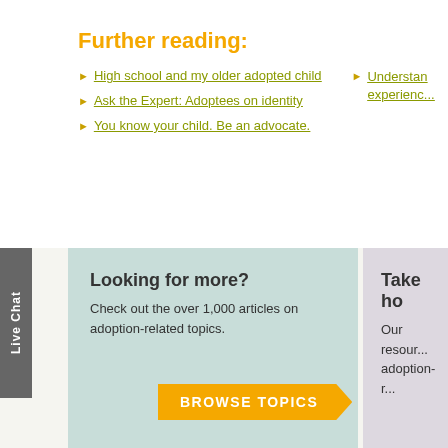Further reading:
High school and my older adopted child
Ask the Expert: Adoptees on identity
You know your child. Be an advocate.
Understanding the experience...
Looking for more?
Check out the over 1,000 articles on adoption-related topics.
BROWSE TOPICS
Take ho...
Our resour... adoption-r...